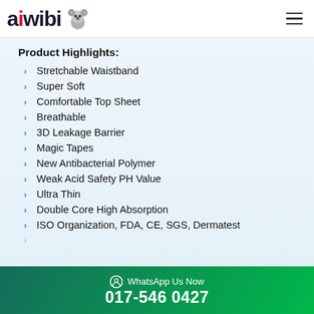aiwibi [logo with koala]
Product Highlights:
Stretchable Waistband
Super Soft
Comfortable Top Sheet
Breathable
3D Leakage Barrier
Magic Tapes
New Antibacterial Polymer
Weak Acid Safety PH Value
Ultra Thin
Double Core High Absorption
ISO Organization, FDA, CE, SGS, Dermatest
WhatsApp Us Now
017-546 0427